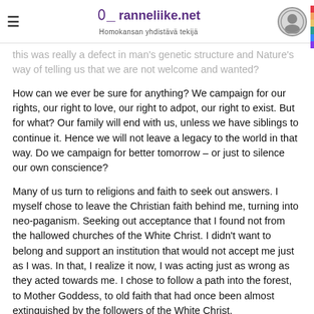ranneliike.net — Homokansan yhdistävä tekijä
this was really a defect in man's genetic structure and Nature's way of telling us that we are not welcome and wanted?
How can we ever be sure for anything? We campaign for our rights, our right to love, our right to adpot, our right to exist. But for what? Our family will end with us, unless we have siblings to continue it. Hence we will not leave a legacy to the world in that way. Do we campaign for better tomorrow – or just to silence our own conscience?
Many of us turn to religions and faith to seek out answers. I myself chose to leave the Christian faith behind me, turning into neo-paganism. Seeking out acceptance that I found not from the hallowed churches of the White Christ. I didn't want to belong and support an institution that would not accept me just as I was. In that, I realize it now, I was acting just as wrong as they acted towards me. I chose to follow a path into the forest, to Mother Goddess, to old faith that had once been almost extinguished by the followers of the White Christ.